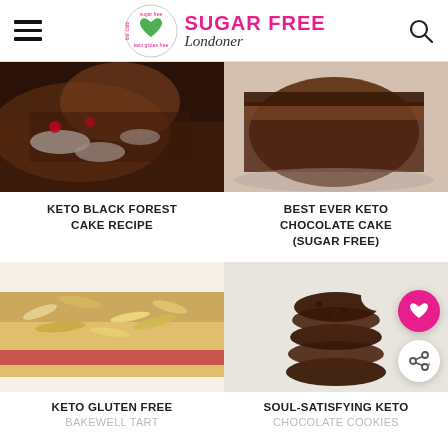Sugar Free Londoner
[Figure (photo): Keto Black Forest cake slice with whipped cream]
KETO BLACK FOREST CAKE RECIPE
[Figure (photo): Best Ever Keto Chocolate Cake slice]
BEST EVER KETO CHOCOLATE CAKE (SUGAR FREE)
[Figure (photo): Keto Gluten Free Bakewell Tart slices]
KETO GLUTEN FREE
BAKEWELL TART
[Figure (photo): Soul-Satisfying Keto Chocolate Cookies stacked]
SOUL-SATISFYING KETO
CHOCOLATE COOKIES